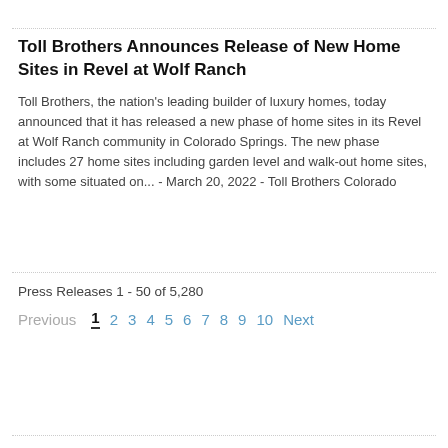Toll Brothers Announces Release of New Home Sites in Revel at Wolf Ranch
Toll Brothers, the nation's leading builder of luxury homes, today announced that it has released a new phase of home sites in its Revel at Wolf Ranch community in Colorado Springs. The new phase includes 27 home sites including garden level and walk-out home sites, with some situated on... - March 20, 2022 - Toll Brothers Colorado
Press Releases 1 - 50 of 5,280
Previous 1 2 3 4 5 6 7 8 9 10 Next